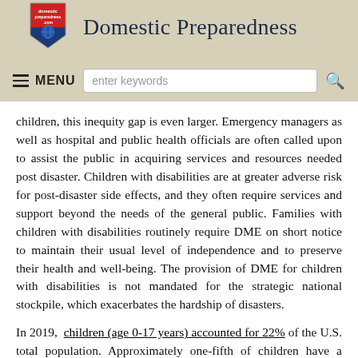Domestic Preparedness
children, this inequity gap is even larger. Emergency managers as well as hospital and public health officials are often called upon to assist the public in acquiring services and resources needed post disaster. Children with disabilities are at greater adverse risk for post-disaster side effects, and they often require services and support beyond the needs of the general public. Families with children with disabilities routinely require DME on short notice to maintain their usual level of independence and to preserve their health and well-being. The provision of DME for children with disabilities is not mandated for the strategic national stockpile, which exacerbates the hardship of disasters.
In 2019, children (age 0-17 years) accounted for 22% of the U.S. total population. Approximately one-fifth of children have a special healthcare need and children require